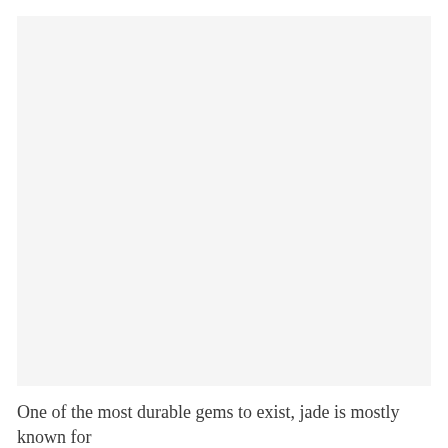[Figure (photo): Large blank/light gray image area representing a photograph placeholder]
One of the most durable gems to exist, jade is mostly known for